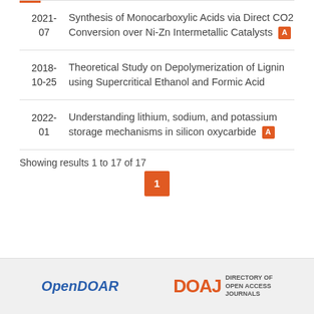2021-07 — Synthesis of Monocarboxylic Acids via Direct CO2 Conversion over Ni-Zn Intermetallic Catalysts [A]
2018-10-25 — Theoretical Study on Depolymerization of Lignin using Supercritical Ethanol and Formic Acid
2022-01 — Understanding lithium, sodium, and potassium storage mechanisms in silicon oxycarbide [A]
Showing results 1 to 17 of 17
OpenDOAR | DOAJ — Directory of Open Access Journals